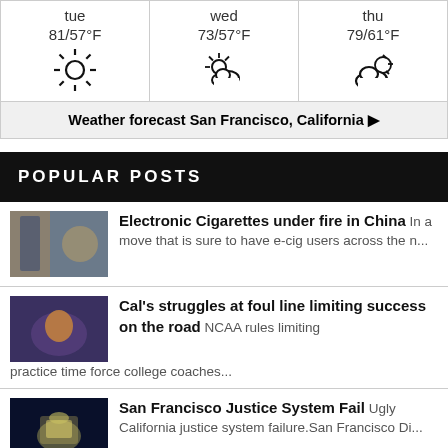[Figure (infographic): Weather forecast widget showing three days: tue (81/57°F, sunny), wed (73/57°F, partly cloudy), thu (79/61°F, cloudy)]
Weather forecast San Francisco, California ▶
POPULAR POSTS
Electronic Cigarettes under fire in China In a move that is sure to have e-cig users across the n...
Cal's struggles at foul line limiting success on the road NCAA rules limiting practice time force college coaches...
San Francisco Justice System Fail Ugly California justice system failure.San Francisco Di...
Love is like a mermaid out of water As infestations of the supernatural go, an invasion of...